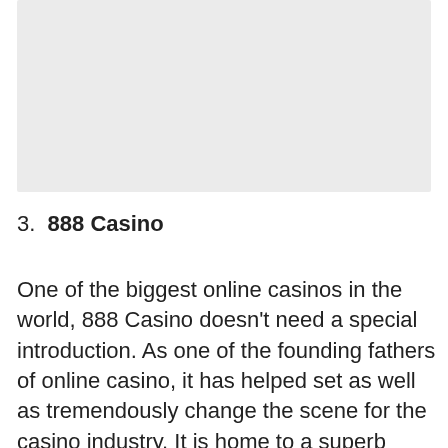[Figure (other): A large light gray placeholder image area at the top of the page.]
3. 888 Casino
One of the biggest online casinos in the world, 888 Casino doesn’t need a special introduction. As one of the founding fathers of online casino, it has helped set as well as tremendously change the scene for the casino industry. It is home to a superb collection of Net Entertainment games which